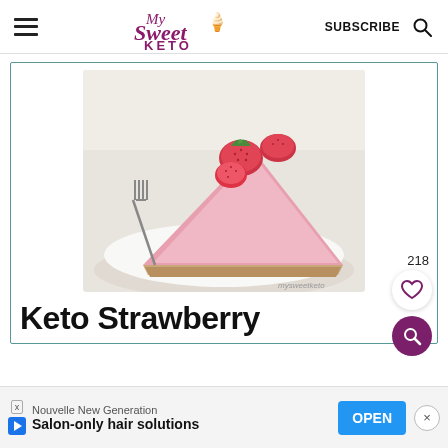My Sweet Keto — SUBSCRIBE
[Figure (photo): A slice of keto strawberry cheesecake on a white plate with a fork, topped with fresh strawberries, with a pink creamy filling and a golden crust base.]
Keto Strawberry C
218
Nouvelle New Generation
Salon-only hair solutions   OPEN